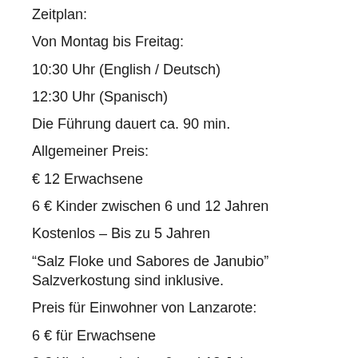Zeitplan:
Von Montag bis Freitag:
10:30 Uhr (English / Deutsch)
12:30 Uhr (Spanisch)
Die Führung dauert ca. 90 min.
Allgemeiner Preis:
€ 12 Erwachsene
6 € Kinder zwischen 6 und 12 Jahren
Kostenlos – Bis zu 5 Jahren
“Salz Floke und Sabores de Janubio” Salzverkostung sind inklusive.
Preis für Einwohner von Lanzarote:
6 € für Erwachsene
3 € Kinder zwischen 6 und 12 Jahren
Kostenlos – Bis zu 5 Jahren